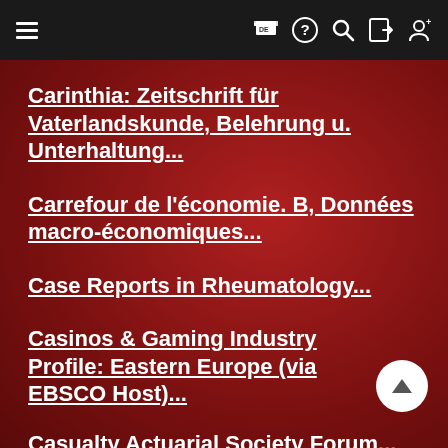Navigation bar with hamburger menu, DE flag, help, search, login, register icons
Carinthia: Zeitschrift für Vaterlandskunde, Belehrung u. Unterhaltung...
Carrefour de l'économie. B, Données macro-économiques...
Case Reports in Rheumatology...
Casinos & Gaming Industry Profile: Eastern Europe (via EBSCO Host)...
Casualty Actuarial Society Forum...